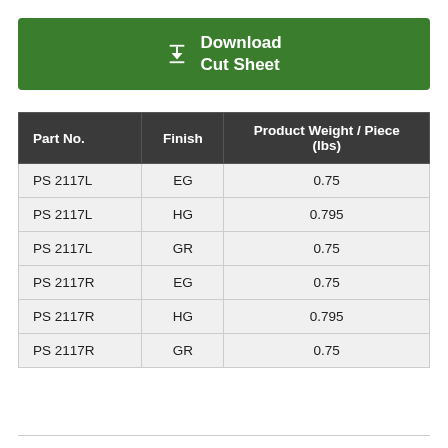[Figure (other): Green download button with download icon and text 'Download Cut Sheet']
| Part No. | Finish | Product Weight / Piece (lbs) |
| --- | --- | --- |
| PS 2117L | EG | 0.75 |
| PS 2117L | HG | 0.795 |
| PS 2117L | GR | 0.75 |
| PS 2117R | EG | 0.75 |
| PS 2117R | HG | 0.795 |
| PS 2117R | GR | 0.75 |